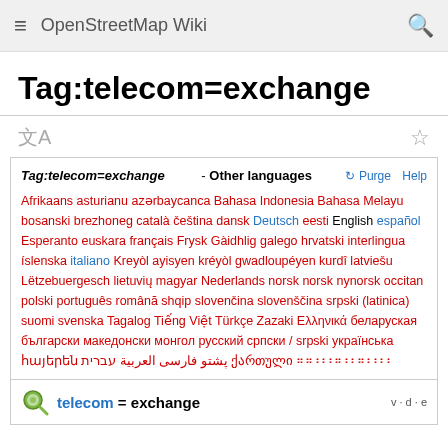OpenStreetMap Wiki
Tag:telecom=exchange
Tag:telecom=exchange - Other languages  Purge  Help  Afrikaans asturianu azərbaycanca Bahasa Indonesia Bahasa Melayu bosanski brezhoneg català čeština dansk Deutsch eesti English español Esperanto euskara français Frysk Gàidhlig galego hrvatski interlingua íslenska italiano Kreyòl ayisyen kréyòl gwadloupéyen kurdî latviešu Lëtzebuergesch lietuvių magyar Nederlands norsk norsk nynorsk occitan polski português română shqip slovenčina slovenščina srpski (latinica) suomi svenska Tagalog Tiếng Việt Türkçe Zazaki Ελληνικά беларуская български македонски монгол русский српски / srpski українська հայերեն پشتو فارسی العربية עברית ქართული ፡፡፡ + ፡
telecom = exchange  v·d·e